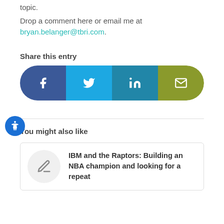topic.
Drop a comment here or email me at bryan.belanger@tbri.com.
Share this entry
[Figure (infographic): Social share bar with four buttons: Facebook (dark blue), Twitter (cyan), LinkedIn (teal), Email (olive green), each with respective icons.]
You might also like
IBM and the Raptors: Building an NBA champion and looking for a repeat